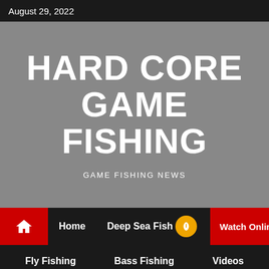August 29, 2022
HARD CORE GAME FISHING
GAME FISHING NEWS
Home
Deep Sea Fish
Watch Online
Fly Fishing
Bass Fishing
Videos
Share This
About Us
Contact